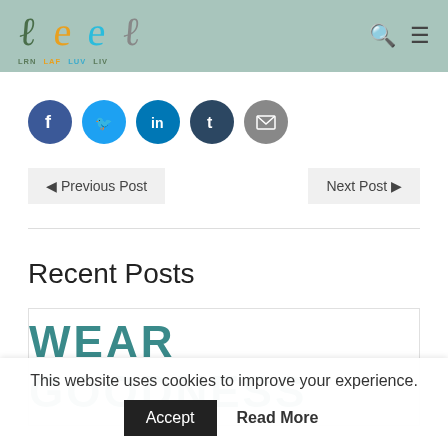LRN LAF LUV LIV — site logo and navigation header
[Figure (logo): Handwritten-style logo with four letters (L shapes) in dark green, orange, teal/cyan, and olive; below: LRN LAF LUV LIV labels]
Social share buttons: Facebook, Twitter, LinkedIn, Tumblr, Email
◄ Previous Post   Next Post ►
Recent Posts
[Figure (illustration): Card image with text WEAR GOODNESS in large teal block letters]
This website uses cookies to improve your experience.
Accept   Read More